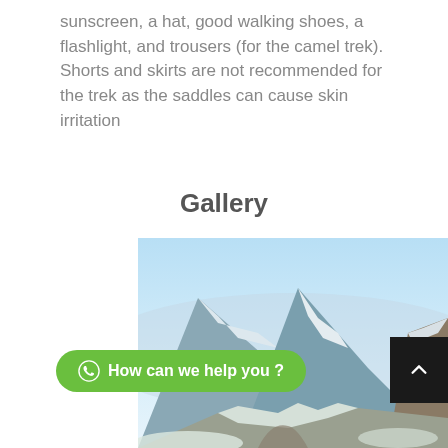sunscreen, a hat, good walking shoes, a flashlight, and trousers (for the camel trek). Shorts and skirts are not recommended for the trek as the saddles can cause skin irritation
Gallery
[Figure (photo): Snowy mountain landscape with rocky terrain under a clear blue sky]